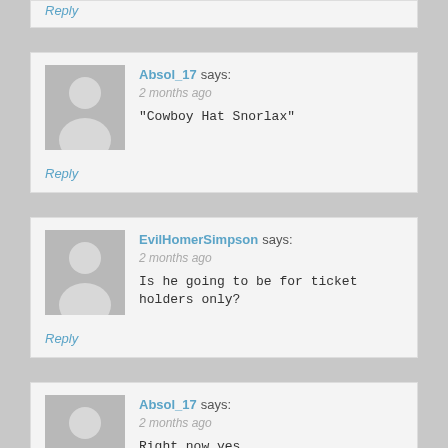Reply
Absol_17 says:
2 months ago
"Cowboy Hat Snorlax"
Reply
EvilHomerSimpson says:
2 months ago
Is he going to be for ticket holders only?
Reply
Absol_17 says:
2 months ago
Right now yes.